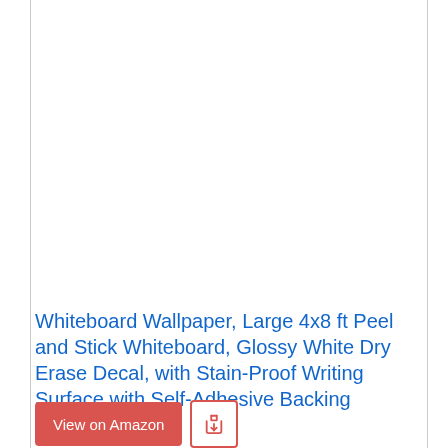[Figure (photo): Product image area — whiteboard wallpaper product photo (white/blank area shown)]
Whiteboard Wallpaper, Large 4x8 ft Peel and Stick Whiteboard, Glossy White Dry Erase Decal, with Stain-Proof Writing Surface with Self-Adhesive Backing
View on Amazon